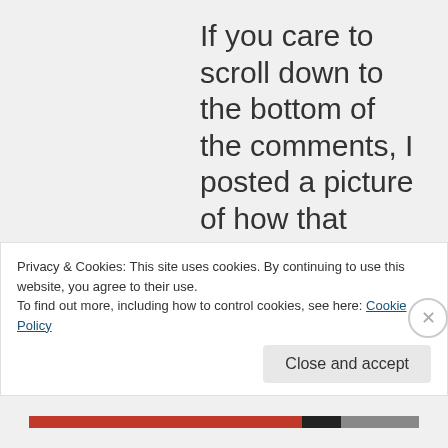If you care to scroll down to the bottom of the comments, I posted a picture of how that snowstorm looked up
Privacy & Cookies: This site uses cookies. By continuing to use this website, you agree to their use.
To find out more, including how to control cookies, see here: Cookie Policy
Close and accept